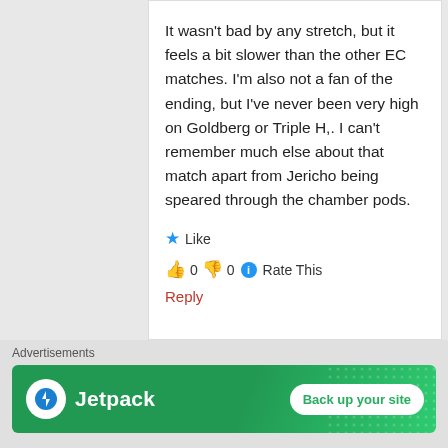It wasn't bad by any stretch, but it feels a bit slower than the other EC matches. I'm also not a fan of the ending, but I've never been very high on Goldberg or Triple H,. I can't remember much else about that match apart from Jericho being speared through the chamber pods.
★ Like
👍 0 👎 0 ℹ Rate This
Reply
Advertisements
[Figure (other): Jetpack advertisement banner with logo and 'Back up your site' button on green background]